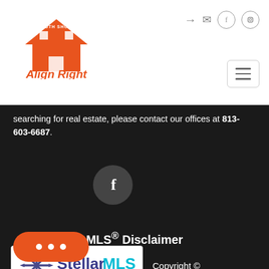[Figure (logo): Align Right Realty South Shore logo in orange]
[Figure (other): Top-right navigation icons: login arrow, mail, Facebook circle, Instagram circle]
[Figure (other): Hamburger menu button (three horizontal lines in a rounded rectangle)]
searching for real estate, please contact our offices at 813-603-6687.
[Figure (other): Facebook dark circle icon button]
MLS® Disclaimer
[Figure (logo): Stellar MLS logo on white background]
Copyright ©
MFRMLS.com All information deemed reliable but not guaranteed. All properties are subject to prior sale, change or withdrawal. Neither listing broker(s) or information provider(s) shall be
[Figure (other): Orange rounded chat button with ellipsis dots]